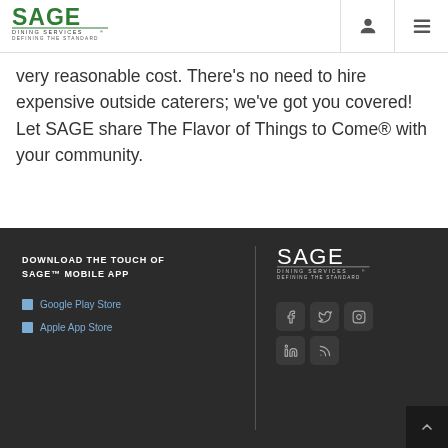[Figure (logo): SAGE Dining Services - Defining the Standard logo in green and dark text]
[Figure (infographic): Navigation icons: user profile icon and hamburger menu icon]
very reasonable cost. There's no need to hire expensive outside caterers; we've got you covered! Let SAGE share The Flavor of Things to Come® with your community.
DOWNLOAD THE TOUCH OF SAGE™ MOBILE APP | Google Play Store | Apple App Store | SAGE Dining Services - Defining the Standard | Social icons: Facebook, Twitter, Instagram, LinkedIn, RSS